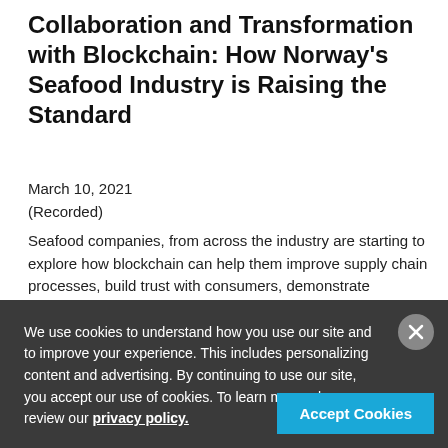Collaboration and Transformation with Blockchain: How Norway's Seafood Industry is Raising the Standard
March 10, 2021
(Recorded)
Seafood companies, from across the industry are starting to explore how blockchain can help them improve supply chain processes, build trust with consumers, demonstrate sustainability and more. In this webinar meet the conveners and participants of Atea's Norwegian Seafood Trust - a blockchain-enabled network that is bringing together feed producers, aquaculture companies, retailers, and others, to ensure the highest quality food sustainability...
We use cookies to understand how you use our site and to improve your experience. This includes personalizing content and advertising. By continuing to use our site, you accept our use of cookies. To learn more, please review our privacy policy.